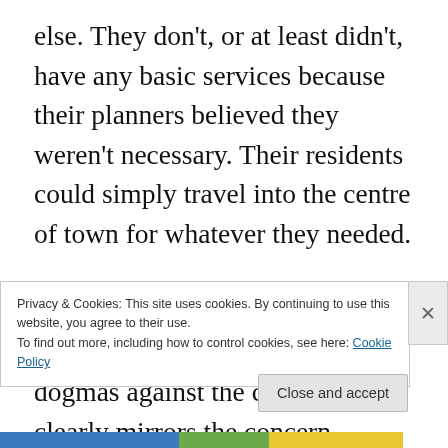else. They don't, or at least didn't, have any basic services because their planners believed they weren't necessary. Their residents could simply travel into the centre of town for whatever they needed.

The rhetoric about parts of France being detached and governed by dogmas against the constitution clearly mirrors the concern
Privacy & Cookies: This site uses cookies. By continuing to use this website, you agree to their use.
To find out more, including how to control cookies, see here: Cookie Policy
Close and accept